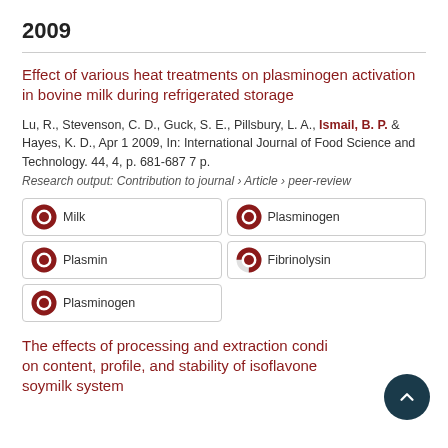2009
Effect of various heat treatments on plasminogen activation in bovine milk during refrigerated storage
Lu, R., Stevenson, C. D., Guck, S. E., Pillsbury, L. A., Ismail, B. P. & Hayes, K. D., Apr 1 2009, In: International Journal of Food Science and Technology. 44, 4, p. 681-687 7 p.
Research output: Contribution to journal › Article › peer-review
[Figure (infographic): Five keyword/topic badges with donut chart icons showing 100% fill: Milk, Plasminogen, Plasmin, Fibrinolysin, Plasminogen]
The effects of processing and extraction conditions on content, profile, and stability of isoflavones in a soymilk system
Authors line beginning visible at bottom of page